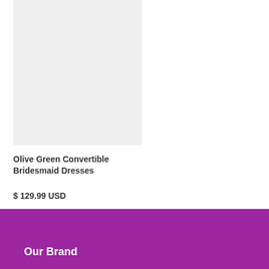[Figure (photo): Product image placeholder — light gray rectangle representing an olive green convertible bridesmaid dress]
Olive Green Convertible Bridesmaid Dresses
$ 129.99 USD
Our Brand